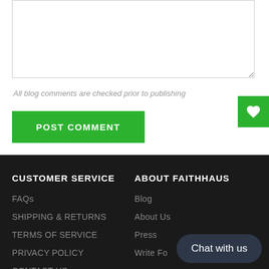All blog comments are checked prior to publishing
POST COMMENT
CUSTOMER SERVICE
ABOUT FAITHHAUS
FAQs
Blog
SHIPPING & RETURNS
About Us
TERMS OF SERVICE
Press
PRIVACY POLICY
Write Fo...
CONTACT US
SHOW SIDEBAR +